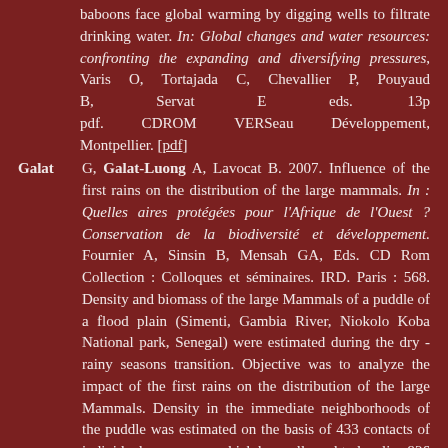baboons face global warming by digging wells to filtrate drinking water. In: Global changes and water resources: confronting the expanding and diversifying pressures, Varis O, Tortajada C, Chevallier P, Pouyaud B, Servat E eds. 13p pdf. CDROM VERSeau Développement, Montpellier. [pdf]
Galat G, Galat-Luong A, Lavocat B. 2007. Influence of the first rains on the distribution of the large mammals. In : Quelles aires protégées pour l'Afrique de l'Ouest ? Conservation de la biodiversité et développement. Fournier A, Sinsin B, Mensah GA, Eds. CD Rom Collection : Colloques et séminaires. IRD. Paris : 568. Density and biomass of the large Mammals of a puddle of a flood plain (Simenti, Gambia River, Niokolo Koba National park, Senegal) were estimated during the dry - rainy seasons transition. Objective was to analyze the impact of the first rains on the distribution of the large Mammals. Density in the immediate neighborhoods of the puddle was estimated on the basis of 433 contacts of individuals or groups, which have allowed to localize 926 animals by the transects lines method. In the puddle